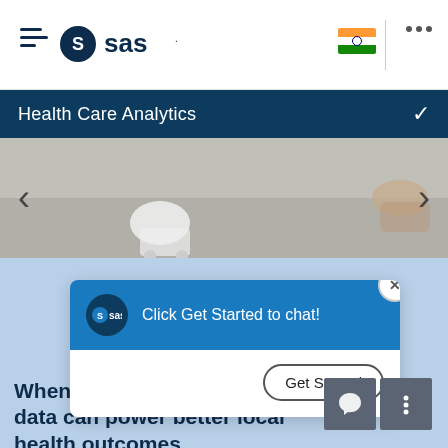[Figure (screenshot): SAS website header with hamburger menu icon, SAS logo, Indian flag, and three-dot menu]
Health Care Analytics
[Figure (photo): Partial view of medical equipment on a surface, hero banner image]
[Figure (screenshot): SAS chat popup widget with 'Click Get Started to chat!' message and 'Get Started' button]
When unlocked by AI, global data can power better local health outcomes.